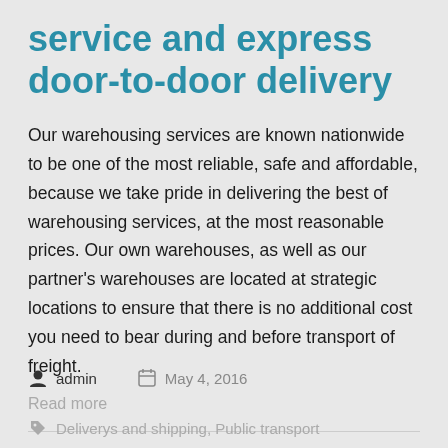service and express door-to-door delivery
Our warehousing services are known nationwide to be one of the most reliable, safe and affordable, because we take pride in delivering the best of warehousing services, at the most reasonable prices. Our own warehouses, as well as our partner's warehouses are located at strategic locations to ensure that there is no additional cost you need to bear during and before transport of freight.
Read more
admin    May 4, 2016
Deliverys and shipping, Public transport